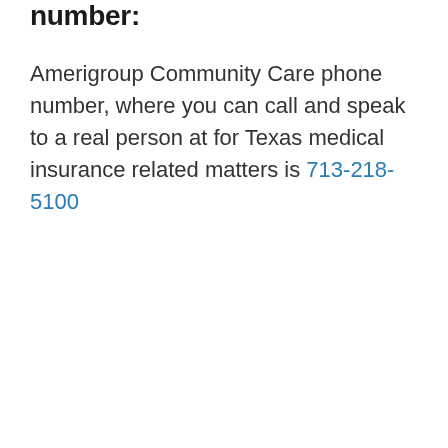number:
Amerigroup Community Care phone number, where you can call and speak to a real person at for Texas medical insurance related matters is 713-218-5100